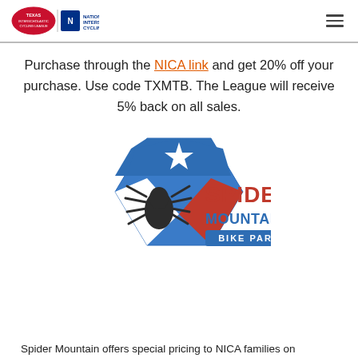Texas NICA / NICA logo and hamburger menu
Purchase through the NICA link and get 20% off your purchase. Use code TXMTB. The League will receive 5% back on all sales.
[Figure (logo): Spider Mountain Bike Park logo — hexagonal badge with Texas flag colors (blue, red, white), a spider graphic, and the text SPIDER MOUNTAIN BIKE PARK]
Spider Mountain offers special pricing to NICA families on